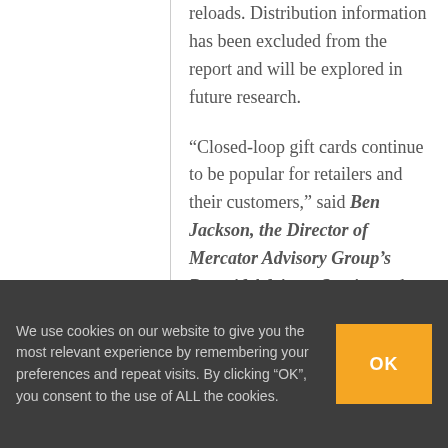reloads. Distribution information has been excluded from the report and will be explored in future research.
“Closed-loop gift cards continue to be popular for retailers and their customers,” said Ben Jackson, the Director of Mercator Advisory Group’s Prepaid Advisory Service and author of the report. “The closed-loop gift card market has
We use cookies on our website to give you the most relevant experience by remembering your preferences and repeat visits. By clicking “OK”, you consent to the use of ALL the cookies.